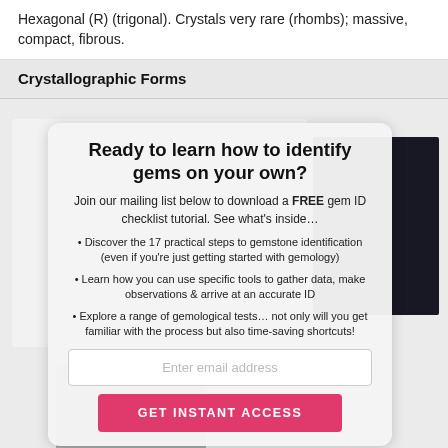Hexagonal (R) (trigonal). Crystals very rare (rhombs); massive, compact, fibrous.
Crystallographic Forms
[Figure (screenshot): A modal popup overlaid on a webpage background showing crystallographic form images. The modal contains a headline, descriptive text with bullet points about gem identification, an email input field, and a pink CTA button reading GET INSTANT ACCESS.]
Ready to learn how to identify gems on your own?
Join our mailing list below to download a FREE gem ID checklist tutorial. See what's inside…
Discover the 17 practical steps to gemstone identification (even if you're just getting started with gemology)
Learn how you can use specific tools to gather data, make observations & arrive at an accurate ID
Explore a range of gemological tests… not only will you get familiar with the process but also time-saving shortcuts!
Enter email address
GET INSTANT ACCESS